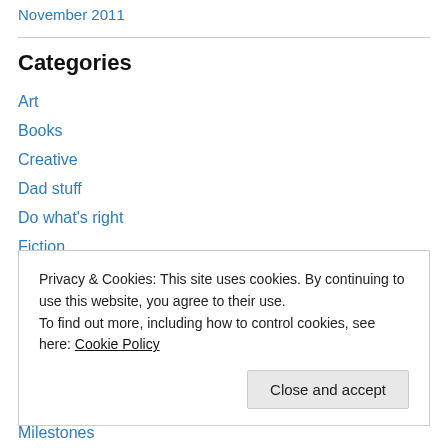November 2011
Categories
Art
Books
Creative
Dad stuff
Do what's right
Fiction
Film
Flash Fiction
Privacy & Cookies: This site uses cookies. By continuing to use this website, you agree to their use.
To find out more, including how to control cookies, see here: Cookie Policy
Milestones